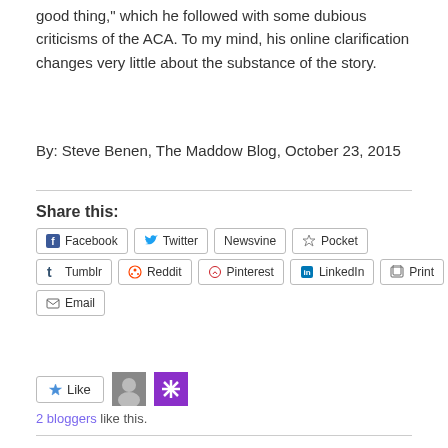good thing," which he followed with some dubious criticisms of the ACA. To my mind, his online clarification changes very little about the substance of the story.
By: Steve Benen, The Maddow Blog, October 23, 2015
Share this:
Social share buttons: Facebook, Twitter, Newsvine, Pocket, Tumblr, Reddit, Pinterest, LinkedIn, Print, Email
2 bloggers like this.